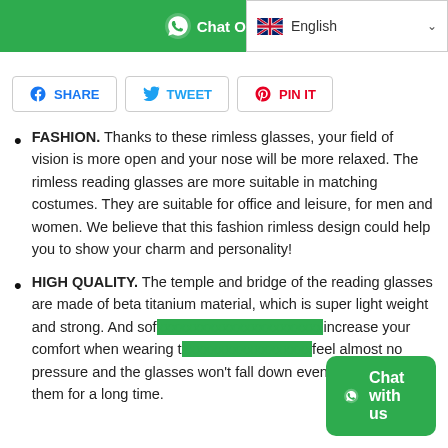Chat On W  English
FASHION. Thanks to these rimless glasses, your field of vision is more open and your nose will be more relaxed. The rimless reading glasses are more suitable in matching costumes. They are suitable for office and leisure, for men and women. We believe that this fashion rimless design could help you to show your charm and personality!
HIGH QUALITY. The temple and bridge of the reading glasses are made of beta titanium material, which is super light weight and strong. And sof... increase your comfort when wearing t... feel almost no pressure and the glasses won't fall down even if you wear them for a long time.